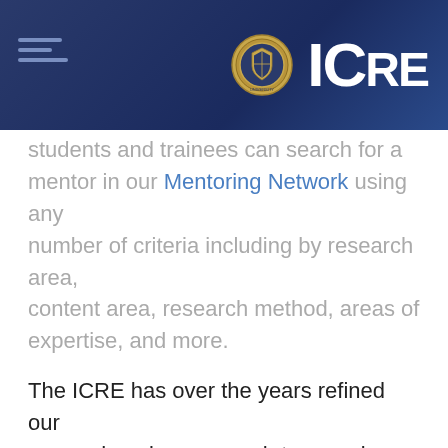ICRE
students and trainees can search for a mentor in our Mentoring Network using any number of criteria including by research area, content area, research method, areas of expertise, and more.
The ICRE has over the years refined our comprehensive approach to ensuring mentors and mentees have a productive and rewarding relationship. Download our Mentoring Handbook to read about how to get more out of the mentoring relationship. The Handbook includes topics like deciding on